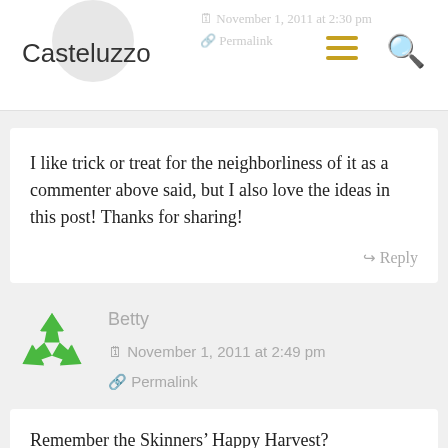Casteluzzo
I like trick or treat for the neighborliness of it as a commenter above said, but I also love the ideas in this post! Thanks for sharing!
Reply
Betty
November 1, 2011 at 2:49 pm
Permalink
Remember the Skinners’ Happy Harvest?
Reply